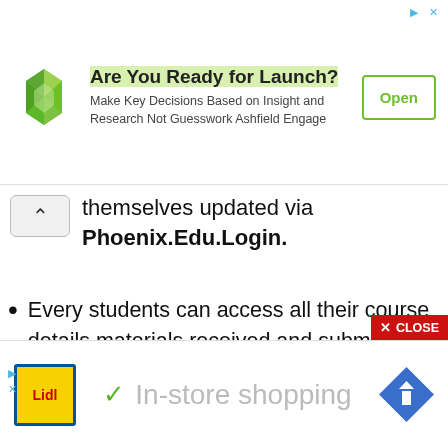[Figure (screenshot): Advertisement banner: green geometric logo, title 'Are You Ready for Launch?', subtitle 'Make Key Decisions Based on Insight and Research Not Guesswork Ashfield Engage', green Open button, ad arrow and X close icons]
themselves updated via Phoenix.Edu.Login.
Every students can access all their course details materials received and submit assignments and even get to know their scores
Students can check their overall performance in terms of grades, attendance and many more.
[Figure (screenshot): Advertisement banner: Lidl logo, checkmark, 'In-store shopping' text, blue navigation icon, ad arrow and X close icons at bottom left]